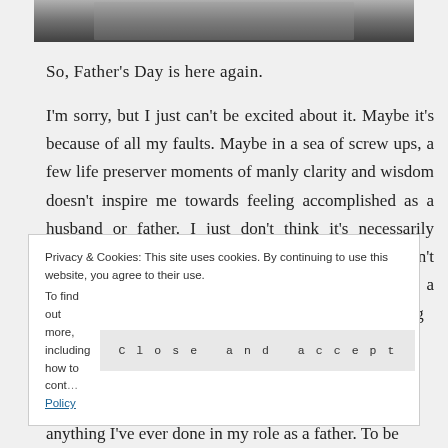[Figure (photo): Black and white photo strip at the top of the page, partially visible]
So, Father's Day is here again.
I'm sorry, but I just can't be excited about it. Maybe it's because of all my faults. Maybe in a sea of screw ups, a few life preserver moments of manly clarity and wisdom doesn't inspire me towards feeling accomplished as a husband or father. I just don't think it's necessarily something to relish in or put on a pedestal. It doesn't seem like it's something to be highly regarded from a fatherly point of view. I'm sorry, but I'm just not feeling
Privacy & Cookies: This site uses cookies. By continuing to use this website, you agree to their use.
To find out more, including how to cont… Cookie Policy   [Close and accept]
anything I've ever done in my role as a father. To be